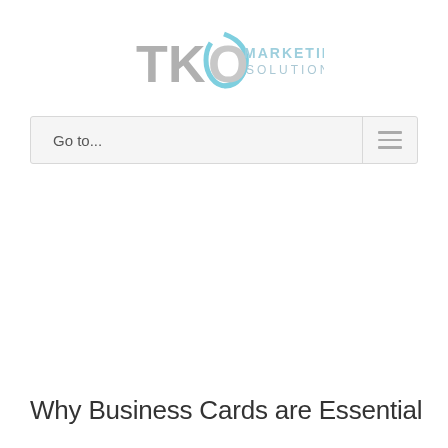[Figure (logo): TKO Marketing Solutions logo — 'TKO' in large silver/grey metallic letters with a circular blue swoosh element, 'MARKETING SOLUTIONS' in light blue text to the right]
Go to...
Why Business Cards are Essential